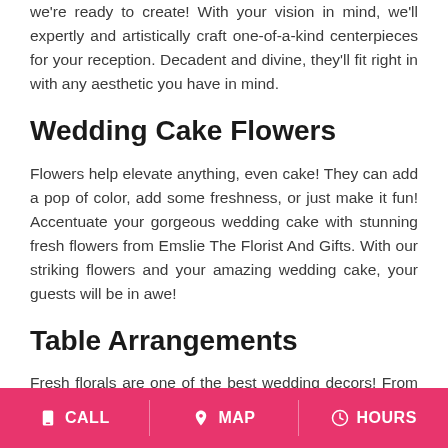we're ready to create! With your vision in mind, we'll expertly and artistically craft one-of-a-kind centerpieces for your reception. Decadent and divine, they'll fit right in with any aesthetic you have in mind.
Wedding Cake Flowers
Flowers help elevate anything, even cake! They can add a pop of color, add some freshness, or just make it fun! Accentuate your gorgeous wedding cake with stunning fresh flowers from Emslie The Florist And Gifts. With our striking flowers and your amazing wedding cake, your guests will be in awe!
Table Arrangements
Fresh florals are one of the best wedding decors! From delicate and elegant to fun and spunky, we'll make your dream a reality and design our florals to fit
CALL   MAP   HOURS